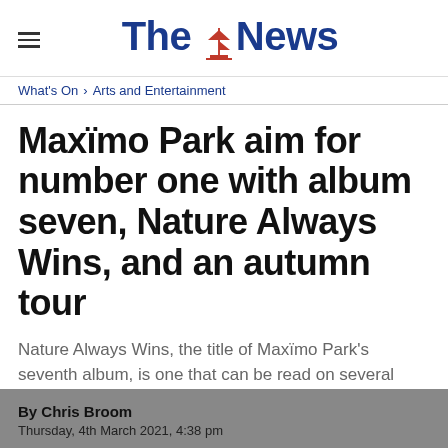The News
What's On > Arts and Entertainment
Maximo Park aim for number one with album seven, Nature Always Wins, and an autumn tour
Nature Always Wins, the title of Maximo Park's seventh album, is one that can be read on several levels.
By Chris Broom
Thursday, 4th March 2021, 4:38 pm